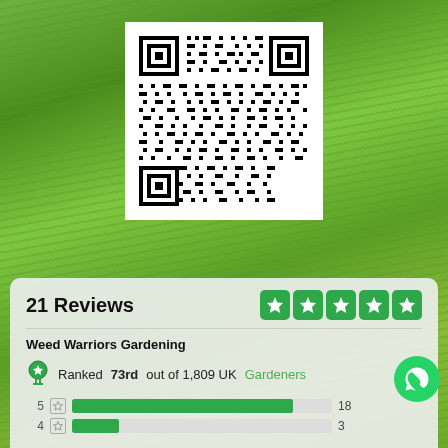[Figure (other): Green grass background photo]
[Figure (other): QR code on white background]
21 Reviews
[Figure (other): Five green star rating badges]
Weed Warriors Gardening
Ranked 73rd out of 1,809 UK Gardeners
[Figure (bar-chart): Rating distribution]
[Figure (other): WhatsApp contact button]